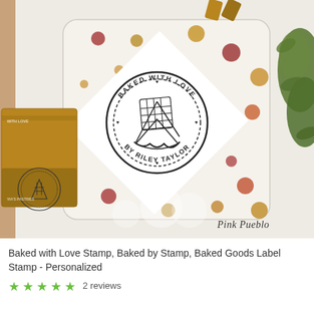[Figure (photo): Product photo of a 'Baked with Love' personalized rubber stamp. Shows a white card with circular stamp design reading 'BAKED WITH LOVE BY RILEY TAYLOR' with a pie graphic, placed on a polka-dot ceramic plate. A wooden stamp block with similar design is visible on the left. Greenery is visible top right. Watermark reads 'Pink Pueblo'. Background is tan/brown wood.]
Baked with Love Stamp, Baked by Stamp, Baked Goods Label Stamp - Personalized
2 reviews